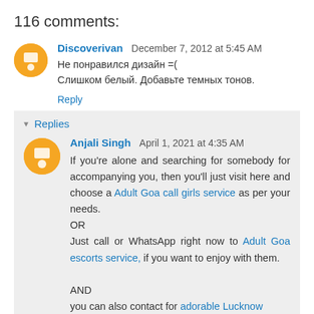116 comments:
Discoverivan  December 7, 2012 at 5:45 AM
Не понравился дизайн =(
Слишком белый. Добавьте темных тонов.
Reply
Replies
Anjali Singh  April 1, 2021 at 4:35 AM
If you're alone and searching for somebody for accompanying you, then you'll just visit here and choose a Adult Goa call girls service as per your needs.
OR
Just call or WhatsApp right now to Adult Goa escorts service, if you want to enjoy with them.

AND
you can also contact for adorable Lucknow